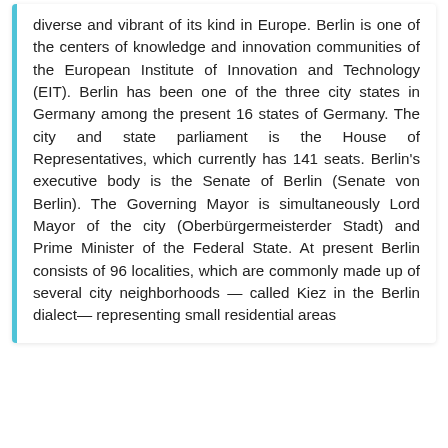diverse and vibrant of its kind in Europe. Berlin is one of the centers of knowledge and innovation communities of the European Institute of Innovation and Technology (EIT). Berlin has been one of the three city states in Germany among the present 16 states of Germany. The city and state parliament is the House of Representatives, which currently has 141 seats. Berlin's executive body is the Senate of Berlin (Senate von Berlin). The Governing Mayor is simultaneously Lord Mayor of the city (Oberbürgermeisterder Stadt) and Prime Minister of the Federal State. At present Berlin consists of 96 localities, which are commonly made up of several city neighborhoods — called Kiez in the Berlin dialect— representing small residential areas
Attractions & Landmarks
Bode Museum.
Brandenburg Gate.